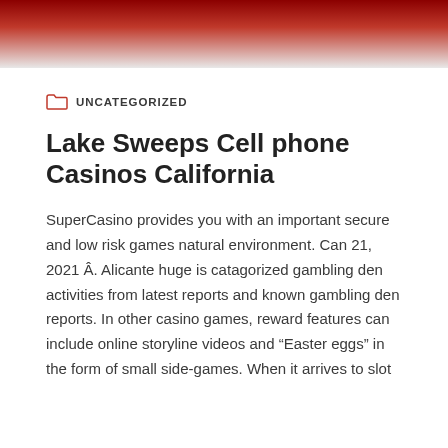[Figure (photo): Red banner header image at the top of the page, dark red gradient background]
UNCATEGORIZED
Lake Sweeps Cell phone Casinos California
SuperCasino provides you with an important secure and low risk games natural environment. Can 21, 2021 Â. Alicante huge is catagorized gambling den activities from latest reports and known gambling den reports. In other casino games, reward features can include online storyline videos and “Easter eggs” in the form of small side-games. When it arrives to slot